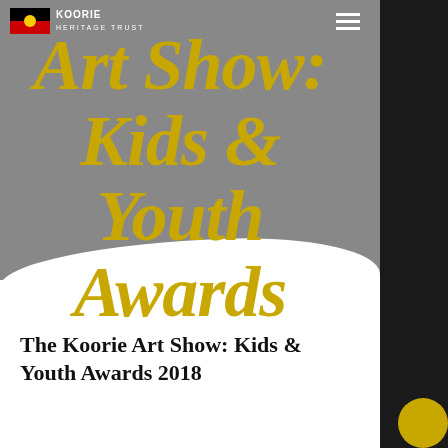[Figure (screenshot): Website screenshot of Koorie Heritage Trust page showing 'Art Show: Kids & Youth Awards' in large gold italic text on gray background with white brushstroke, with the Koorie Heritage Trust logo and Aboriginal flag at top, hamburger menu icon, and dark right sidebar.]
The Koorie Art Show: Kids & Youth Awards 2018